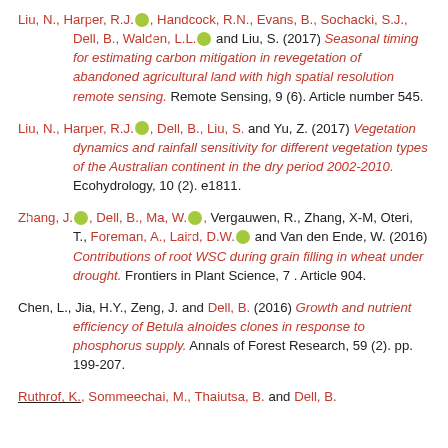Liu, N., Harper, R.J. [orcid], Handcock, R.N., Evans, B., Sochacki, S.J., Dell, B., Walden, L.L. [orcid] and Liu, S. (2017) Seasonal timing for estimating carbon mitigation in revegetation of abandoned agricultural land with high spatial resolution remote sensing. Remote Sensing, 9 (6). Article number 545.
Liu, N., Harper, R.J. [orcid], Dell, B., Liu, S. and Yu, Z. (2017) Vegetation dynamics and rainfall sensitivity for different vegetation types of the Australian continent in the dry period 2002-2010. Ecohydrology, 10 (2). e1811.
Zhang, J. [orcid], Dell, B., Ma, W. [orcid], Vergauwen, R., Zhang, X-M, Oteri, T., Foreman, A., Laird, D.W. [orcid] and Van den Ende, W. (2016) Contributions of root WSC during grain filling in wheat under drought. Frontiers in Plant Science, 7. Article 904.
Chen, L., Jia, H.Y., Zeng, J. and Dell, B. (2016) Growth and nutrient efficiency of Betula alnoides clones in response to phosphorus supply. Annals of Forest Research, 59 (2). pp. 199-207.
Ruthrof, K., Sommeechai, M., Thaiutsa, B. and Dell, B.